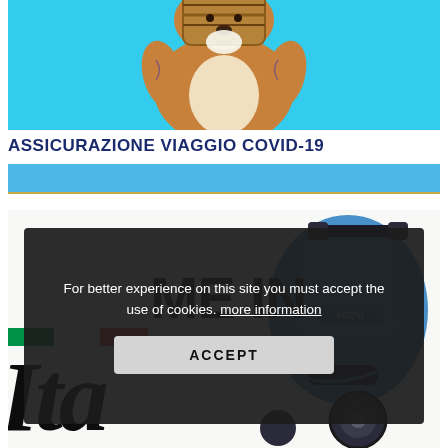[Figure (illustration): Cartoon muscular character holding a wooden barrel, set against a cyan/light blue background. The character appears to be a Saint Bernard dog in human-like form with tattoos.]
ASSICURAZIONE VIAGGIO COVID-19
[Figure (illustration): Italian travel-themed image showing a blue Vespa scooter on the right, large stylized italic text reading 'Ita' on the lower left, 'ME IN' in bold on the center, and an Italian flag stripe (green-white-red). Overlaid with a cookie consent dialog box.]
For better experience on this site you must accept the use of cookies. more information
ACCEPT